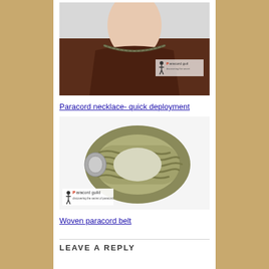[Figure (photo): Person wearing a paracord necklace over a brown t-shirt, with Paracord guild logo visible]
Paracord necklace- quick deployment
[Figure (photo): Tan/olive colored woven paracord belt coiled up, with Paracord guild logo below]
Woven paracord belt
LEAVE A REPLY